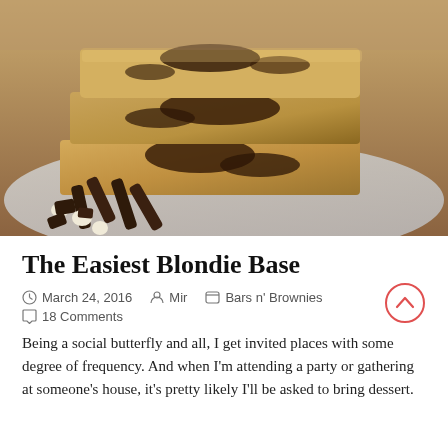[Figure (photo): Close-up photo of stacked blondie bars with chocolate chunks on a plate, with chocolate pieces and white chocolate chips scattered around]
The Easiest Blondie Base
March 24, 2016   Mir   Bars n' Brownies   18 Comments
Being a social butterfly and all, I get invited places with some degree of frequency. And when I'm attending a party or gathering at someone's house, it's pretty likely I'll be asked to bring dessert.